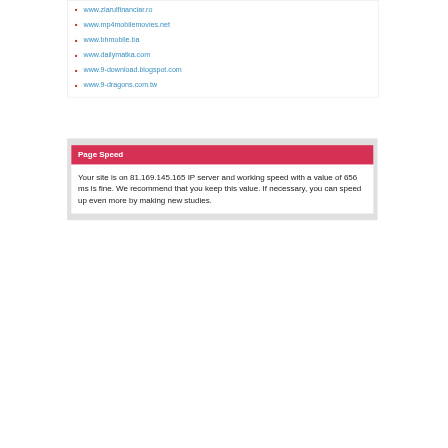www.ziarulfinanciar.ro
www.mp4mobilemovies.net
www.bhmobile.ba
www.dailymatka.com
www.9-download.blogspot.com
www.9-dragons.com.tw
Page Speed
Your site is on 81.169.145.165 IP server and working speed with a value of 656 ms is fine. We recommend that you keep this value. If necessary, you can speed up even more by making new studies.